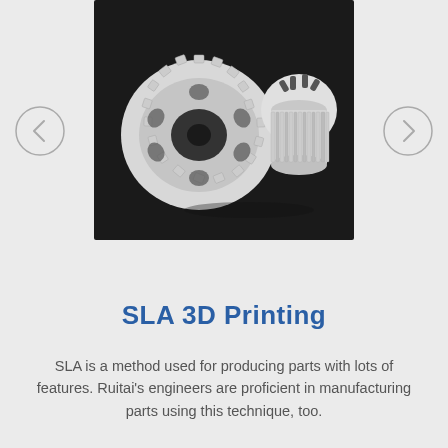[Figure (photo): Two white 3D-printed plastic gear parts photographed against a dark background. Left piece is a large spur gear with a central hole and cutouts. Right piece is a smaller cylindrical gear hub component.]
SLA 3D Printing
SLA is a method used for producing parts with lots of features. Ruitai’s engineers are proficient in manufacturing parts using this technique, too.